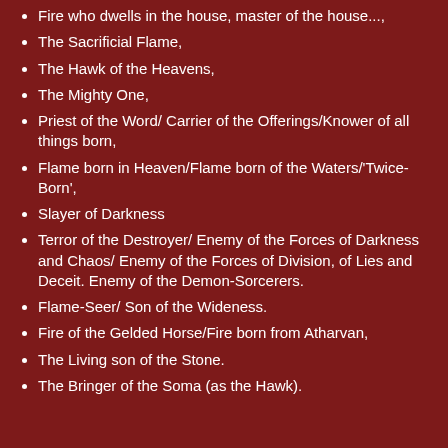Fire who dwells in the house, master of the house...,
The Sacrificial Flame,
The Hawk of the Heavens,
The Mighty One,
Priest of the Word/ Carrier of the Offerings/Knower of all things born,
Flame born in Heaven/Flame born of the Waters/'Twice-Born',
Slayer of Darkness
Terror of the Destroyer/ Enemy of the Forces of Darkness and Chaos/ Enemy of the Forces of Division, of Lies and Deceit. Enemy of the Demon-Sorcerers.
Flame-Seer/ Son of the Wideness.
Fire of the Gelded Horse/Fire born from Atharvan,
The Living son of the Stone.
The Bringer of the Soma (as the Hawk).